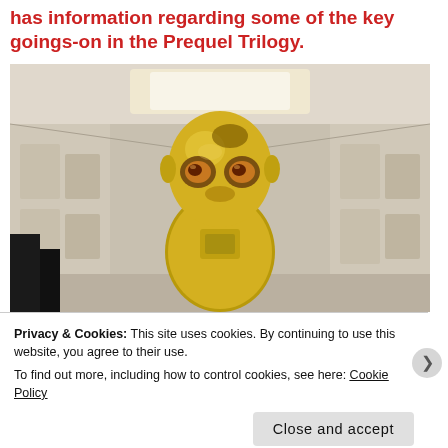has information regarding some of the key goings-on in the Prequel Trilogy.
[Figure (photo): Photo of C-3PO (gold protocol droid from Star Wars) in a white corridor/hallway setting]
Privacy & Cookies: This site uses cookies. By continuing to use this website, you agree to their use.
To find out more, including how to control cookies, see here: Cookie Policy
Close and accept